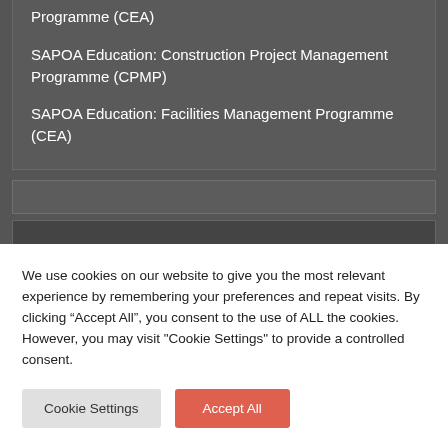Programme (CEA)
SAPOA Education: Construction Project Management Programme (CPMP)
SAPOA Education: Facilities Management Programme (CEA)
FIND INFO
We use cookies on our website to give you the most relevant experience by remembering your preferences and repeat visits. By clicking “Accept All”, you consent to the use of ALL the cookies. However, you may visit "Cookie Settings" to provide a controlled consent.